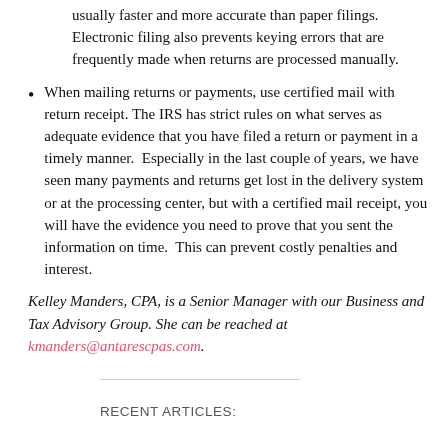usually faster and more accurate than paper filings. Electronic filing also prevents keying errors that are frequently made when returns are processed manually.
When mailing returns or payments, use certified mail with return receipt. The IRS has strict rules on what serves as adequate evidence that you have filed a return or payment in a timely manner.  Especially in the last couple of years, we have seen many payments and returns get lost in the delivery system or at the processing center, but with a certified mail receipt, you will have the evidence you need to prove that you sent the information on time.  This can prevent costly penalties and interest.
Kelley Manders, CPA, is a Senior Manager with our Business and Tax Advisory Group. She can be reached at kmanders@antarescpas.com.
RECENT ARTICLES: